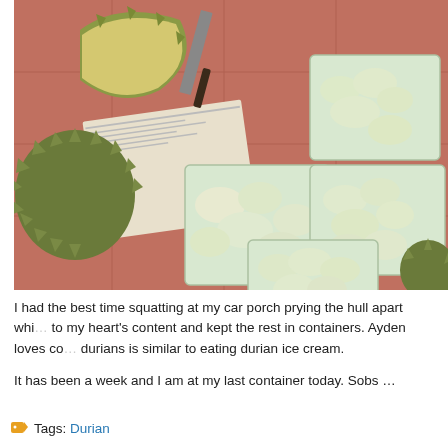[Figure (photo): Photo of durian fruits being prepared on a tiled floor. Whole durians and an opened durian shell are visible on newspaper on the left. On the right, multiple clear plastic containers hold durian flesh segments. A knife/cleaver is also visible.]
I had the best time squatting at my car porch prying the hull apart whi... to my heart's content and kept the rest in containers. Ayden loves co... durians is similar to eating durian ice cream.
It has been a week and I am at my last container today. Sobs …
Tags: Durian